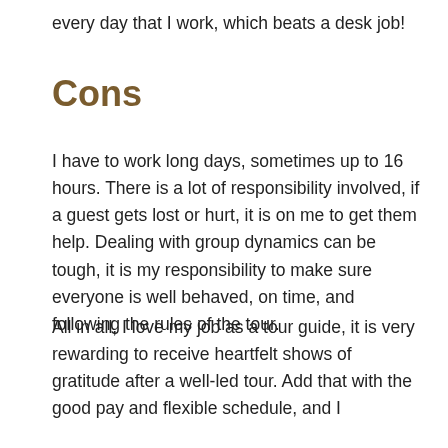every day that I work, which beats a desk job!
Cons
I have to work long days, sometimes up to 16 hours. There is a lot of responsibility involved, if a guest gets lost or hurt, it is on me to get them help. Dealing with group dynamics can be tough, it is my responsibility to make sure everyone is well behaved, on time, and following the rules of the tour.
All in all, I love my job as a tour guide, it is very rewarding to receive heartfelt shows of gratitude after a well-led tour. Add that with the good pay and flexible schedule, and I